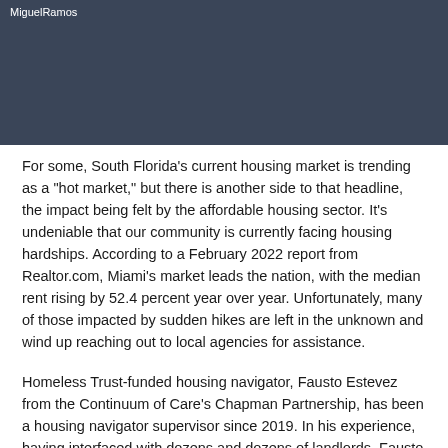MiguelRamos
For some, South Florida's current housing market is trending as a "hot market," but there is another side to that headline, the impact being felt by the affordable housing sector. It's undeniable that our community is currently facing housing hardships. According to a February 2022 report from Realtor.com, Miami's market leads the nation, with the median rent rising by 52.4 percent year over year. Unfortunately, many of those impacted by sudden hikes are left in the unknown and wind up reaching out to local agencies for assistance.
Homeless Trust-funded housing navigator, Fausto Estevez from the Continuum of Care's Chapman Partnership, has been a housing navigator supervisor since 2019. In his experience, having interfaced with dozens and dozens of landlords, Fausto believes there are many benefits to the program, so he